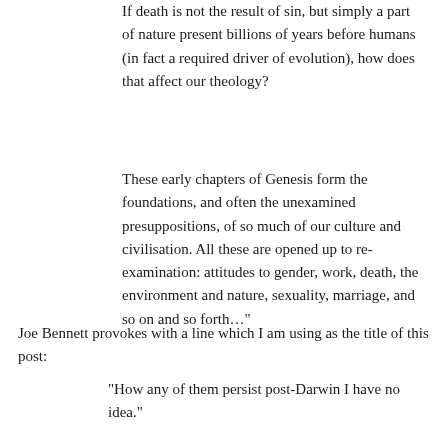If death is not the result of sin, but simply a part of nature present billions of years before humans (in fact a required driver of evolution), how does that affect our theology?
These early chapters of Genesis form the foundations, and often the unexamined presuppositions, of so much of our culture and civilisation. All these are opened up to re-examination: attitudes to gender, work, death, the environment and nature, sexuality, marriage, and so on and so forth…"
Joe Bennett provokes with a line which I am using as the title of this post:
"How any of them persist post-Darwin I have no idea."
"them" equals religious organisations, whether cults or established faiths.